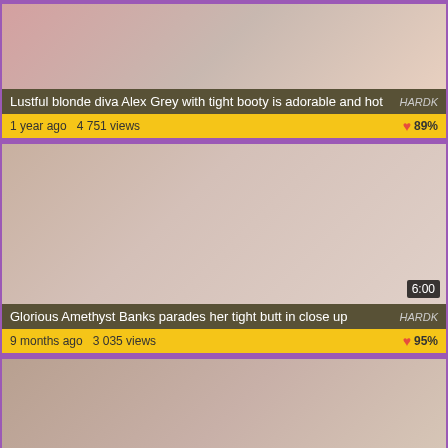[Figure (photo): Video thumbnail - adult content video listing card 1]
Lustful blonde diva Alex Grey with tight booty is adorable and hot
1 year ago  4751 views   89%
[Figure (photo): Video thumbnail - adult content video listing card 2, duration 6:00]
Glorious Amethyst Banks parades her tight butt in close up
9 months ago  3 035 views   95%
[Figure (photo): Video thumbnail - adult content video listing card 3, duration 5:00]